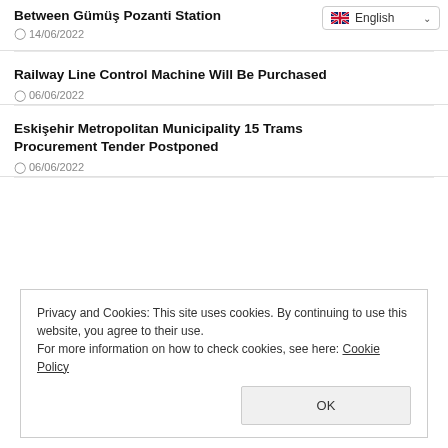Between Gümüş Pozanti Station
14/06/2022
Railway Line Control Machine Will Be Purchased
06/06/2022
Eskişehir Metropolitan Municipality 15 Trams Procurement Tender Postponed
06/06/2022
Privacy and Cookies: This site uses cookies. By continuing to use this website, you agree to their use.
For more information on how to check cookies, see here: Cookie Policy